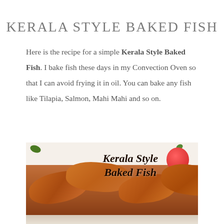KERALA STYLE BAKED FISH
Here is the recipe for a simple Kerala Style Baked Fish. I bake fish these days in my Convection Oven so that I can avoid frying it in oil. You can bake any fish like Tilapia, Salmon, Mahi Mahi and so on.
[Figure (photo): Photo of Kerala Style Baked Fish — spiced fish pieces baked golden-orange on a decorative plate with floral motifs, with overlaid text reading 'Kerala Style Baked Fish' in bold italic font, and a red apple visible in the top right corner.]